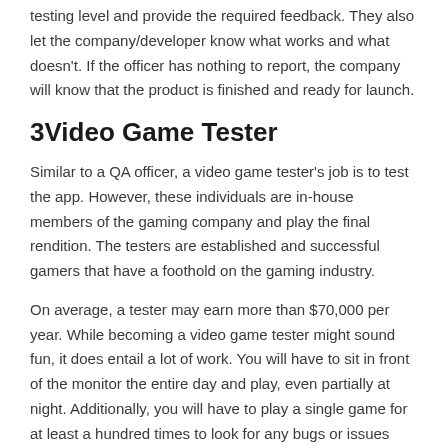testing level and provide the required feedback. They also let the company/developer know what works and what doesn't. If the officer has nothing to report, the company will know that the product is finished and ready for launch.
3Video Game Tester
Similar to a QA officer, a video game tester's job is to test the app. However, these individuals are in-house members of the gaming company and play the final rendition. The testers are established and successful gamers that have a foothold on the gaming industry.
On average, a tester may earn more than $70,000 per year. While becoming a video game tester might sound fun, it does entail a lot of work. You will have to sit in front of the monitor the entire day and play, even partially at night. Additionally, you will have to play a single game for at least a hundred times to look for any bugs or issues before the product is ready for its launch.